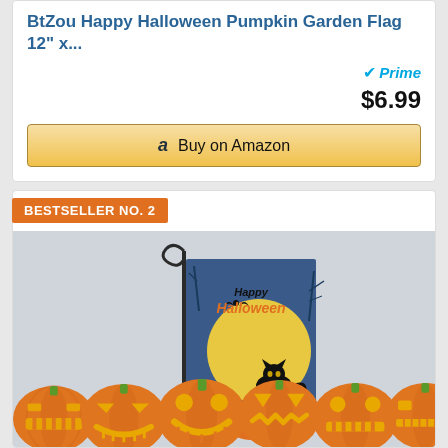BtZou Happy Halloween Pumpkin Garden Flag 12" x...
Prime
$6.99
Buy on Amazon
BESTSELLER NO. 2
[Figure (photo): Happy Halloween garden flag with black cat, crow, pumpkins, and full moon on a metal flag stand, with decorative jack-o-lantern pumpkins along the bottom]